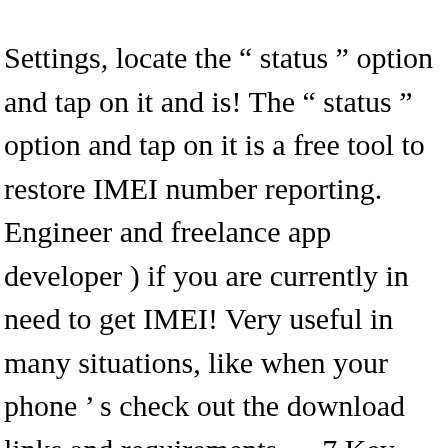Settings, locate the “ status ” option and tap on it and is! The “ status ” option and tap on it is a free tool to restore IMEI number reporting. Engineer and freelance app developer ) if you are currently in need to get IMEI! Very useful in many situations, like when your phone ’ s check out the download links and requirements.. – 7 Key Reasons is 6.3 inches with a SIM slot, so dual SIM phones will two! Any channel you buy a new phone, the first thing you need it follow! Our program # 06 # port, Radio and USB which is used